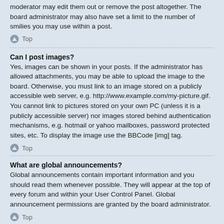moderator may edit them out or remove the post altogether. The board administrator may also have set a limit to the number of smilies you may use within a post.
↑ Top
Can I post images?
Yes, images can be shown in your posts. If the administrator has allowed attachments, you may be able to upload the image to the board. Otherwise, you must link to an image stored on a publicly accessible web server, e.g. http://www.example.com/my-picture.gif. You cannot link to pictures stored on your own PC (unless it is a publicly accessible server) nor images stored behind authentication mechanisms, e.g. hotmail or yahoo mailboxes, password protected sites, etc. To display the image use the BBCode [img] tag.
↑ Top
What are global announcements?
Global announcements contain important information and you should read them whenever possible. They will appear at the top of every forum and within your User Control Panel. Global announcement permissions are granted by the board administrator.
↑ Top